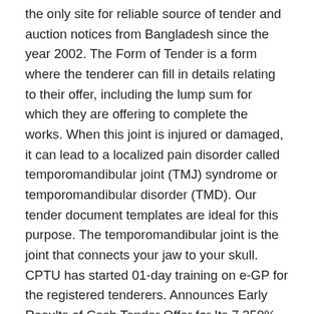the only site for reliable source of tender and auction notices from Bangladesh since the year 2002. The Form of Tender is a form where the tenderer can fill in details relating to their offer, including the lump sum for which they are offering to complete the works. When this joint is injured or damaged, it can lead to a localized pain disorder called temporomandibular joint (TMJ) syndrome or temporomandibular disorder (TMD). Our tender document templates are ideal for this purpose. The temporomandibular joint is the joint that connects your jaw to your skull. CPTU has started 01-day training on e-GP for the registered tenderers. Announces Early Results of Cash Tender Offer for Its 7.250% Senior Notes Due 2020 The authorised and paid-up capital of the company is … The powerful, long telescopic booms can reach great working heights quickly and easily. An automated teller machine is an electronic banking outlet for completing basic transactions without the aid of a branch representative or teller. The press release states, “The price represents a premium of 29% to J Crew’s average closing